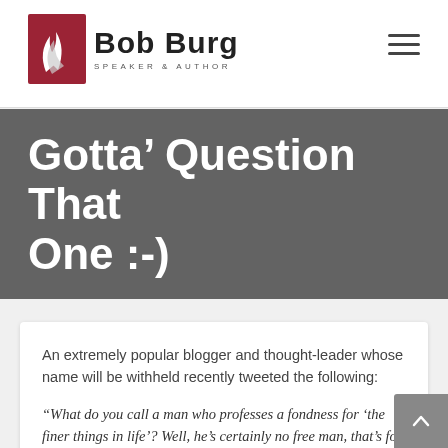Bob Burg — Speaker & Author
Gotta' Question That One :-)
An extremely popular blogger and thought-leader whose name will be withheld recently tweeted the following:
“What do you call a man who professes a fondness for ‘the finer things in life’? Well, he’s certainly no free man, that’s for sure...”